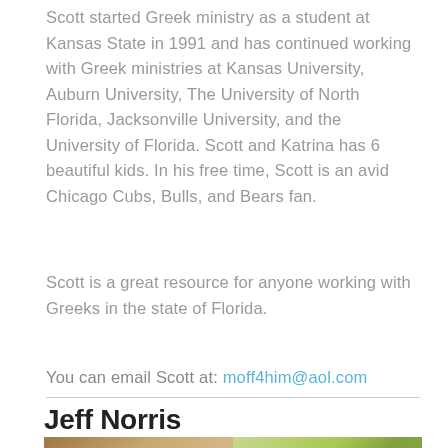Scott started Greek ministry as a student at Kansas State in 1991 and has continued working with Greek ministries at Kansas University, Auburn University, The University of North Florida, Jacksonville University, and the University of Florida. Scott and Katrina has 6 beautiful kids. In his free time, Scott is an avid Chicago Cubs, Bulls, and Bears fan.
Scott is a great resource for anyone working with Greeks in the state of Florida.
You can email Scott at: moff4him@aol.com
Jeff Norris
[Figure (photo): Two photos side by side of Jeff Norris and another person outdoors]